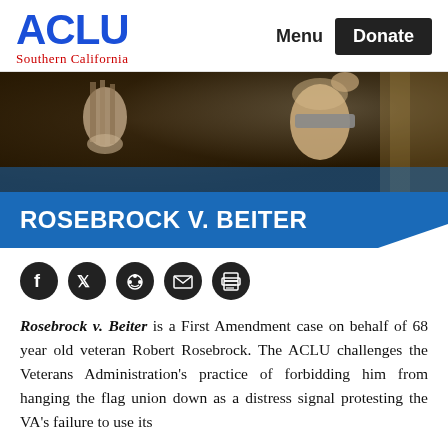ACLU Southern California | Menu | Donate
[Figure (photo): Close-up photograph of a statue of Justice (Lady Justice), blindfolded and holding scales, dark background]
ROSEBROCK V. BEITER
[Figure (infographic): Social sharing icons: Facebook, Twitter, Reddit, Email, Print]
Rosebrock v. Beiter is a First Amendment case on behalf of 68 year old veteran Robert Rosebrock. The ACLU challenges the Veterans Administration's practice of forbidding him from hanging the flag union down as a distress signal protesting the VA's failure to use its